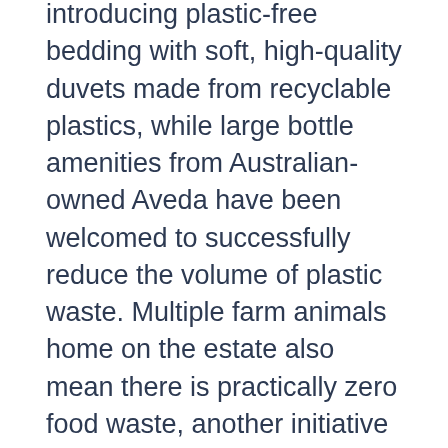introducing plastic-free bedding with soft, high-quality duvets made from recyclable plastics, while large bottle amenities from Australian-owned Aveda have been welcomed to successfully reduce the volume of plastic waste. Multiple farm animals home on the estate also mean there is practically zero food waste, another initiative to support the environment and local community.
The vibrant voco experience extends with multiple facilities available onsite, including tennis courts, billiards room, an indoor heated pool, sauna and spa, and gymnasium.
The property was one of the first Hunter Valley hotels established in the prestigious wine region and joined the IHG family in June 2017 under the banner of Kirkton Park Hunter Valley. It since built a reputation for being one of the wine region's most desirable destinations.